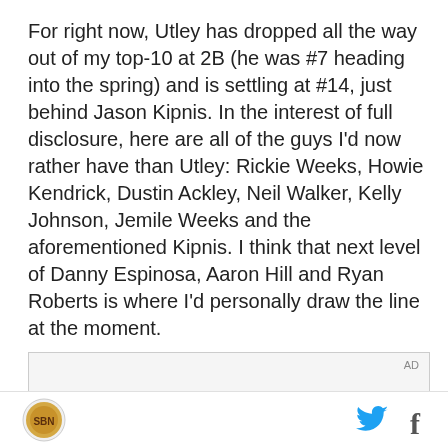For right now, Utley has dropped all the way out of my top-10 at 2B (he was #7 heading into the spring) and is settling at #14, just behind Jason Kipnis. In the interest of full disclosure, here are all of the guys I'd now rather have than Utley: Rickie Weeks, Howie Kendrick, Dustin Ackley, Neil Walker, Kelly Johnson, Jemile Weeks and the aforementioned Kipnis. I think that next level of Danny Espinosa, Aaron Hill and Ryan Roberts is where I'd personally draw the line at the moment.
[Figure (other): Advertisement box with AD label and dark strip at bottom]
Site logo on left; Twitter and Facebook icons on right